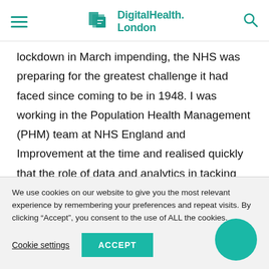DigitalHealth.London
lockdown in March impending, the NHS was preparing for the greatest challenge it had faced since coming to be in 1948. I was working in the Population Health Management (PHM) team at NHS England and Improvement at the time and realised quickly that the role of data and analytics in tacking Covid-19 could not be underestimated. It was clear that the best and brightest
We use cookies on our website to give you the most relevant experience by remembering your preferences and repeat visits. By clicking “Accept”, you consent to the use of ALL the cookies.
Cookie settings   ACCEPT